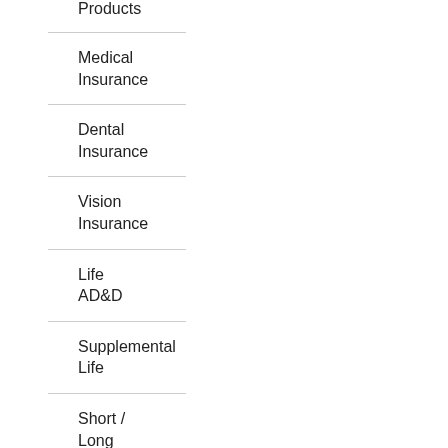Products
Medical Insurance
Dental Insurance
Vision Insurance
Life AD&D
Supplemental Life
Short / Long Term Disability